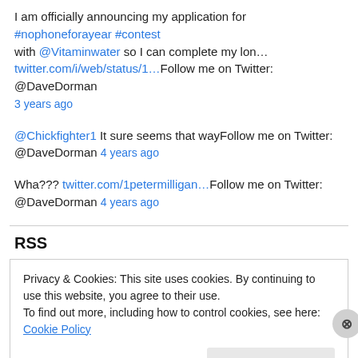I am officially announcing my application for #nophoneforayear #contest with @Vitaminwater so I can complete my lon… twitter.com/i/web/status/1…Follow me on Twitter: @DaveDorman 3 years ago
@Chickfighter1 It sure seems that wayFollow me on Twitter: @DaveDorman 4 years ago
Wha??? twitter.com/1petermilligan…Follow me on Twitter: @DaveDorman 4 years ago
RSS
Privacy & Cookies: This site uses cookies. By continuing to use this website, you agree to their use. To find out more, including how to control cookies, see here: Cookie Policy